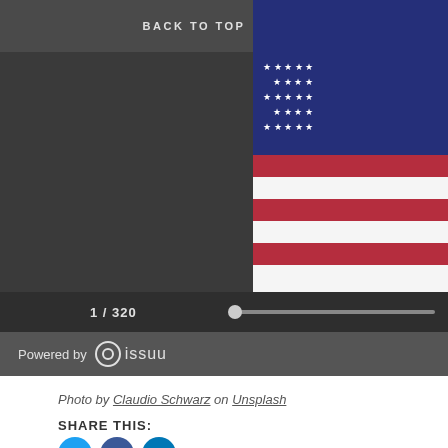BACK TO TOP
ONKAR GHATE
[Figure (photo): Folded American flag showing stars and red/white stripes, partially visible on the right side of the viewer]
1 / 320
Powered by issuu
Photo by Claudio Schwarz on Unsplash
SHARE THIS: